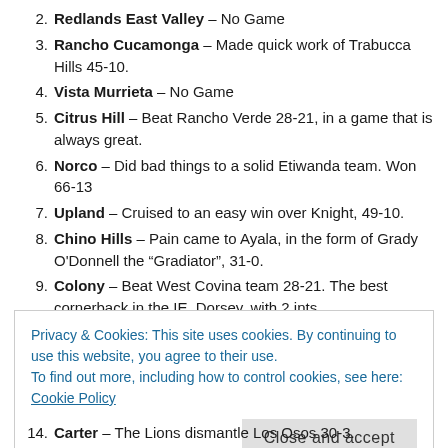2. Redlands East Valley – No Game
3. Rancho Cucamonga – Made quick work of Trabucca Hills 45-10.
4. Vista Murrieta – No Game
5. Citrus Hill – Beat Rancho Verde 28-21, in a game that is always great.
6. Norco – Did bad things to a solid Etiwanda team. Won 66-13
7. Upland – Cruised to an easy win over Knight, 49-10.
8. Chino Hills – Pain came to Ayala, in the form of Grady O'Donnell the "Gradiator", 31-0.
9. Colony – Beat West Covina team 28-21. The best cornerback in the IE, Dorsey, with 2 ints.
10. Heritage – Patriot was in top form against Great Oak. Beating them soundly 36-13.
Privacy & Cookies: This site uses cookies. By continuing to use this website, you agree to their use. To find out more, including how to control cookies, see here: Cookie Policy
14. Carter – The Lions dismantle Los Osos 30-3.